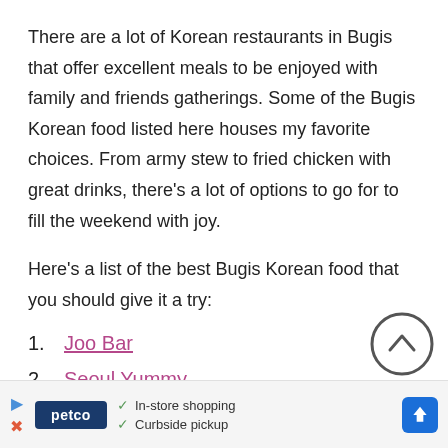There are a lot of Korean restaurants in Bugis that offer excellent meals to be enjoyed with family and friends gatherings. Some of the Bugis Korean food listed here houses my favorite choices. From army stew to fried chicken with great drinks, there's a lot of options to go for to fill the weekend with joy.
Here's a list of the best Bugis Korean food that you should give it a try:
Joo Bar
Seoul Yummy
Ssak3 Bras Basah